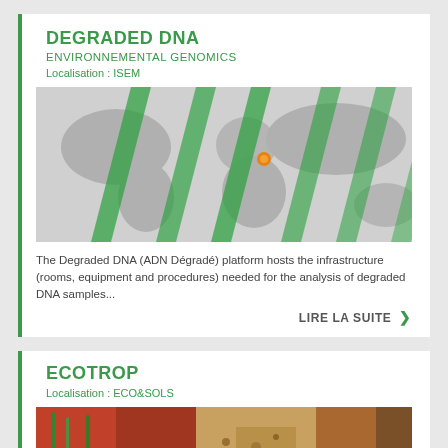DEGRADED DNA
ENVIRONNEMENTAL GENOMICS
Localisation : ISEM
[Figure (photo): World map with green diagonal arrow overlays and an orange dot marker on Europe/Mediterranean region]
The Degraded DNA (ADN Dégradé) platform hosts the infrastructure (rooms, equipment and procedures) needed for the analysis of degraded DNA samples...
LIRE LA SUITE >
ECOTROP
Localisation : ECO&SOLS
[Figure (photo): Close-up photo of tropical plants/soil showing red plants and soil textures]